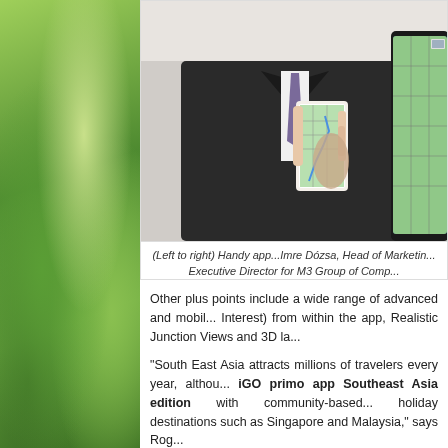[Figure (photo): A person in a dark suit and purple tie holding up a white smartphone displaying a map navigation app. On the right side, a tablet device is also visible showing a map interface.]
(Left to right) Handy app...Imre Dózsa, Head of Marketing... Executive Director for M3 Group of Comp...
Other plus points include a wide range of advanced and mobile... Interest) from within the app, Realistic Junction Views and 3D la...
“South East Asia attracts millions of travelers every year, althou... iGO primo app Southeast Asia edition with community-based... holiday destinations such as Singapore and Malaysia,” says Rog...